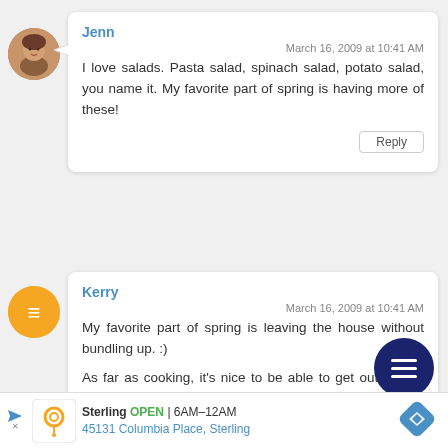Jenn
March 16, 2009 at 10:41 AM
I love salads. Pasta salad, spinach salad, potato salad, you name it. My favorite part of spring is having more of these!
Reply
Kerry
March 16, 2009 at 10:41 AM
My favorite part of spring is leaving the house without bundling up. :)
As far as cooking, it's nice to be able to get outside for grilling easier. DH will
Sterling OPEN | 6AM–12AM 45131 Columbia Place, Sterling